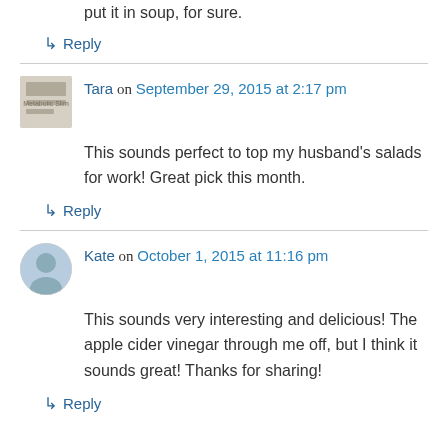put it in soup, for sure.
↳ Reply
Tara on September 29, 2015 at 2:17 pm
This sounds perfect to top my husband’s salads for work! Great pick this month.
↳ Reply
Kate on October 1, 2015 at 11:16 pm
This sounds very interesting and delicious! The apple cider vinegar through me off, but I think it sounds great! Thanks for sharing!
↳ Reply